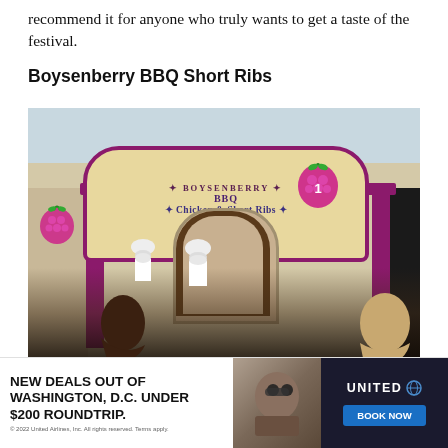recommend it for anyone who truly wants to get a taste of the festival.
Boysenberry BBQ Short Ribs
[Figure (photo): Photo of the Boysenberry BBQ stand at a festival, showing a pink/purple wooden sign arch reading 'Boysenberry BBQ Chicken Sandwich & Short Ribs' with a numbered berry logo. Two chefs in white toques are visible behind the counter, and festival visitors are in the foreground.]
[Figure (infographic): Advertisement banner: 'NEW DEALS OUT OF WASHINGTON, D.C. UNDER $200 ROUNDTRIP.' with United Airlines logo and 'BOOK NOW' button. Small print: © 2022 United Airlines, Inc. All rights reserved. Terms apply.]